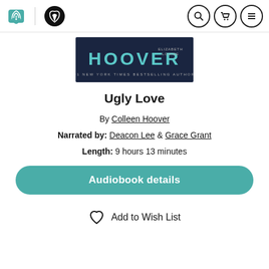Audible / Libro.fm navigation header with search, cart, and menu icons
[Figure (other): Book cover banner for 'Ugly Love' by Elizabeth Louise (Colleen Hoover), dark navy background with cyan HOOVER text and subtitle '#1 New York Times Bestselling Author']
Ugly Love
By Colleen Hoover
Narrated by: Deacon Lee & Grace Grant
Length: 9 hours 13 minutes
Audiobook details
Add to Wish List